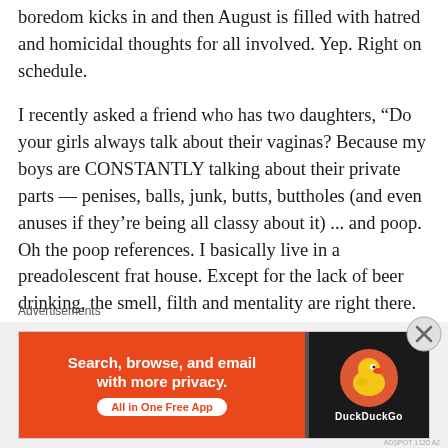boredom kicks in and then August is filled with hatred and homicidal thoughts for all involved. Yep. Right on schedule.
I recently asked a friend who has two daughters, “Do your girls always talk about their vaginas? Because my boys are CONSTANTLY talking about their private parts — penises, balls, junk, butts, buttholes (and even anuses if they’re being all classy about it) ... and poop. Oh the poop references. I basically live in a preadolescent frat house. Except for the lack of beer drinking, the smell, filth and mentality are right there.
Advertisements
[Figure (other): DuckDuckGo advertisement banner: orange left panel with text 'Search, browse, and email with more privacy. All in One Free App' and white pill-shaped button; dark right panel with DuckDuckGo duck logo and brand name.]